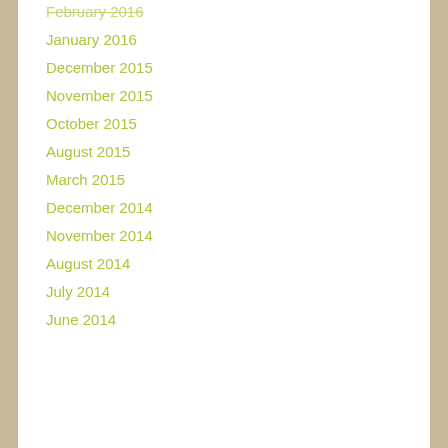February 2016
January 2016
December 2015
November 2015
October 2015
August 2015
March 2015
December 2014
November 2014
August 2014
July 2014
June 2014